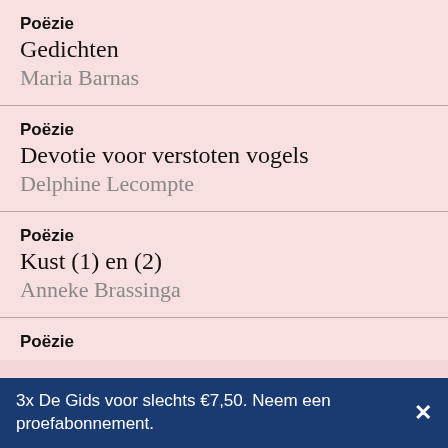Poëzie
Gedichten
Maria Barnas
Poëzie
Devotie voor verstoten vogels
Delphine Lecompte
Poëzie
Kust (1) en (2)
Anneke Brassinga
Poëzie
3x De Gids voor slechts €7,50. Neem een proefabonnement.